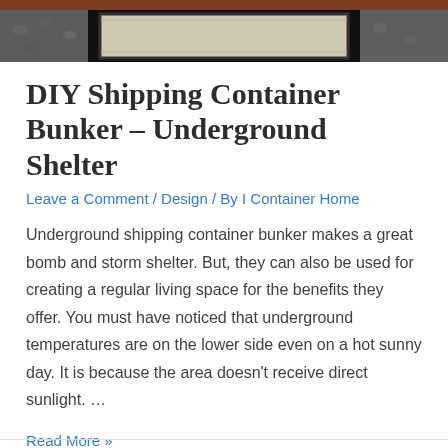[Figure (photo): Top portion of a shipping container bunker installation, showing gravel/aggregate materials and a metal door or hatch frame, viewed from above]
DIY Shipping Container Bunker – Underground Shelter
Leave a Comment / Design / By I Container Home
Underground shipping container bunker makes a great bomb and storm shelter. But, they can also be used for creating a regular living space for the benefits they offer. You must have noticed that underground temperatures are on the lower side even on a hot sunny day. It is because the area doesn't receive direct sunlight. …
Read More »